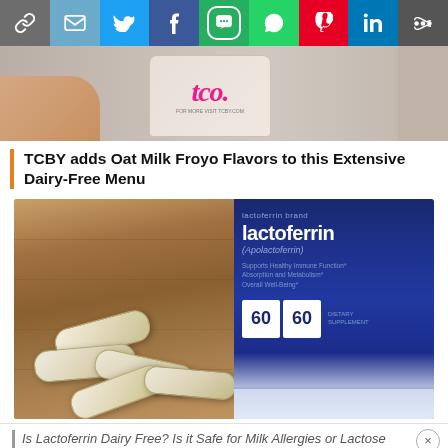[Figure (screenshot): Social media share bar with icons: link, email, Twitter, Facebook, SMS, WhatsApp, Pinterest, LinkedIn, More]
[Figure (photo): Hand holding a TCBY frozen yogurt cup with pink logo text on a light background]
TCBY adds Oat Milk Froyo Flavors to this Extensive Dairy-Free Menu
[Figure (photo): Photo of Lactoferrin dietary supplement bottle labeled 'Lactoferrin (Apolactoferrin)' with capsules/pills scattered on a wooden surface in foreground]
Is Lactoferrin Dairy Free? Is it Safe for Milk Allergies or Lactose Intolerance?